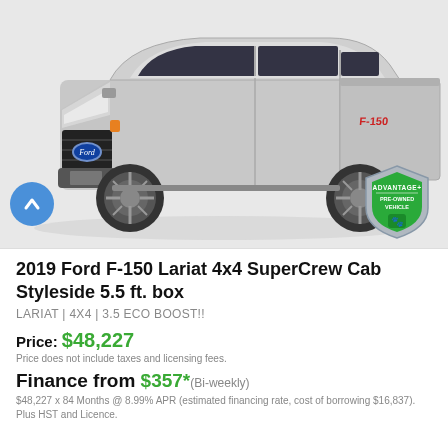[Figure (photo): Silver 2019 Ford F-150 pickup truck shown from a front three-quarter angle on a white/gray background. A blue circular up-arrow navigation button is visible on the lower left. An Advantage+ Pre-Owned Vehicle badge shield is on the lower right.]
2019 Ford F-150 Lariat 4x4 SuperCrew Cab Styleside 5.5 ft. box
LARIAT | 4X4 | 3.5 ECO BOOST!!
Price: $48,227
Price does not include taxes and licensing fees.
Finance from $357* (Bi-weekly)
$48,227 x 84 Months @ 8.99% APR (estimated financing rate, cost of borrowing $16,837). Plus HST and Licence.